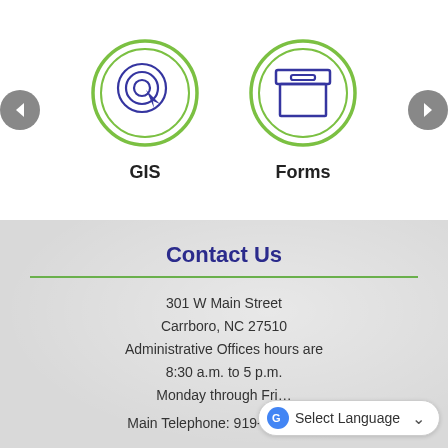[Figure (illustration): Left navigation arrow (grey circle with left-pointing chevron)]
[Figure (illustration): GIS icon: green double-ring circle containing a blue location/cursor target icon]
GIS
[Figure (illustration): Forms icon: green double-ring circle containing a blue archive/box icon]
Forms
[Figure (illustration): Right navigation arrow (grey circle with right-pointing chevron)]
Contact Us
301 W Main Street
Carrboro, NC 27510
Administrative Offices hours are
8:30 a.m. to 5 p.m.
Monday through Fri…
Main Telephone: 919-942-8541
[Figure (screenshot): Google Translate language selector widget showing 'Select Language' with dropdown arrow]